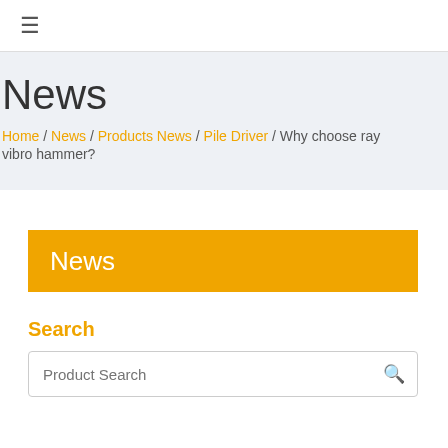≡
News
Home / News / Products News / Pile Driver / Why choose ray vibro hammer?
News
Search
Product Search